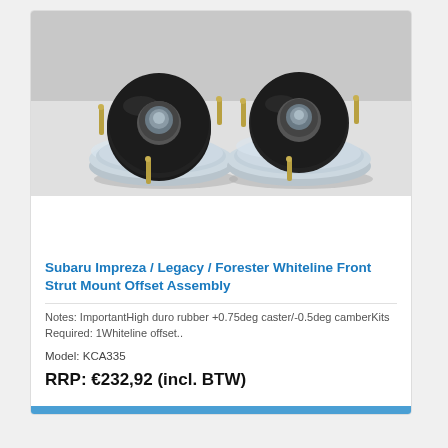[Figure (photo): Two Whiteline front strut mount offset assemblies side by side, showing round black rubber tops with center hole and silver zinc-plated metal base plates with three gold-colored bolt studs each.]
Subaru Impreza / Legacy / Forester Whiteline Front Strut Mount Offset Assembly
Notes: ImportantHigh duro rubber +0.75deg caster/-0.5deg camberKits Required: 1Whiteline offset..
Model: KCA335
RRP: €232,92 (incl. BTW)